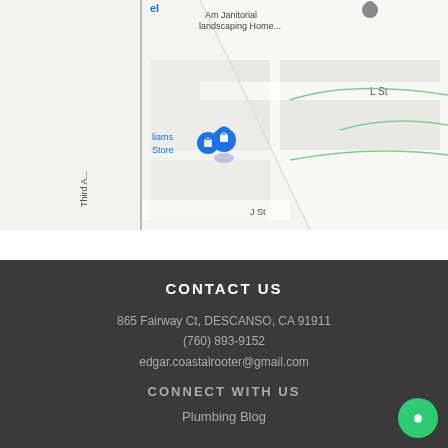[Figure (map): Google Maps screenshot showing streets including L St, Third Ave, and nearby businesses like Am Janitorial landscaping Home and a store. Blue location pin visible.]
CONTACT US
865 Fairway Ct, DESCANSO, CA 91911
(760) 893-9152
edgar.coastalrooter@gmail.com
CONNECT WITH US
Plumbing Blog